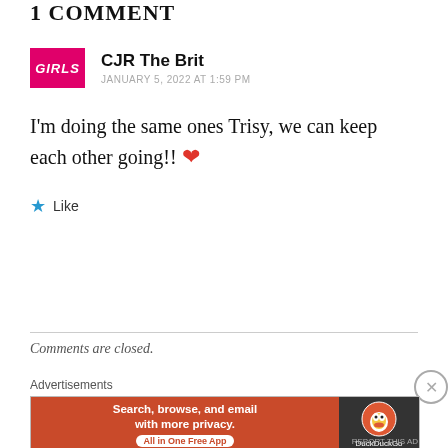1 COMMENT
[Figure (logo): GIRLS blog avatar logo in pink/magenta bold italic text]
CJR The Brit
JANUARY 5, 2022 AT 1:59 PM
I'm doing the same ones Trisy, we can keep each other going!! ❤
Like
Comments are closed.
Advertisements
[Figure (screenshot): DuckDuckGo advertisement banner: 'Search, browse, and email with more privacy. All in One Free App']